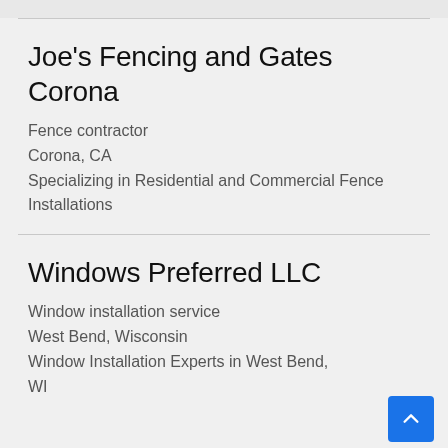Joe’s Fencing and Gates Corona
Fence contractor
Corona, CA
Specializing in Residential and Commercial Fence Installations
Windows Preferred LLC
Window installation service
West Bend, Wisconsin
Window Installation Experts in West Bend, WI